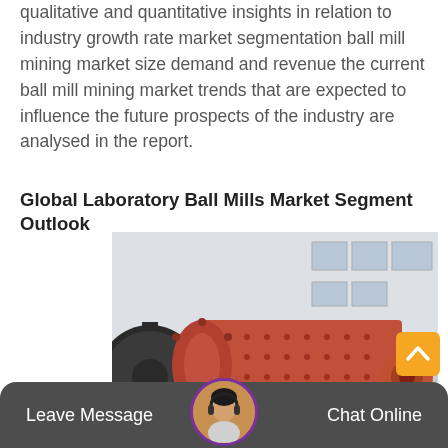qualitative and quantitative insights in relation to industry growth rate market segmentation ball mill mining market size demand and revenue the current ball mill mining market trends that are expected to influence the future prospects of the industry are analysed in the report.
Global Laboratory Ball Mills Market Segment Outlook
[Figure (photo): Industrial ball mill machine - a large red cylindrical rotating drum with flanged ends and gear wheel, used for grinding in mining/laboratory applications, photographed outdoors at a factory.]
Leave Message   Chat Online